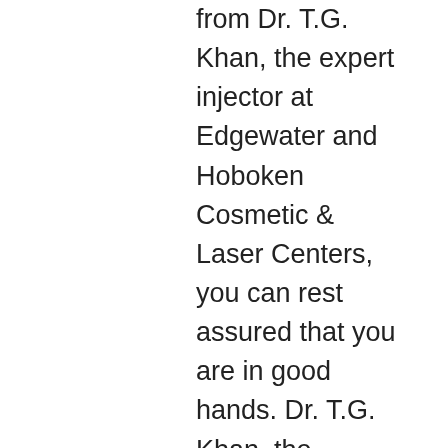from Dr. T.G. Khan, the expert injector at Edgewater and Hoboken Cosmetic & Laser Centers, you can rest assured that you are in good hands. Dr. T.G. Khan, the facility's medical director, is a board-certified physician and surgeon as well as a Fellow of the American College of Surgeons (FACS) and has over 12 years in administering cosmetic injection and laser treatments. His vast years of education in all aspects of today's cutting-edge cosmetic procedures ensure that you will receive thorough counseling as to which procedures, surgeries, or therapies are just right for you. And Dr. T.G. Khan maintains a minimum of 30 hours per year in Continuing Medical Education (CME) to insure his clients receive the very best and latest injection